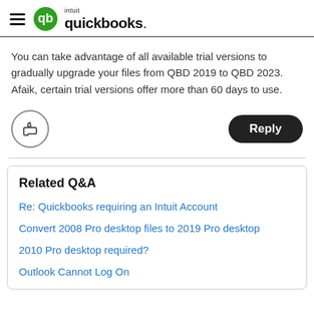intuit quickbooks
You can take advantage of all available trial versions to gradually upgrade your files from QBD 2019 to QBD 2023. Afaik, certain trial versions offer more than 60 days to use.
Related Q&A
Re: Quickbooks requiring an Intuit Account
Convert 2008 Pro desktop files to 2019 Pro desktop
2010 Pro desktop required?
Outlook Cannot Log On